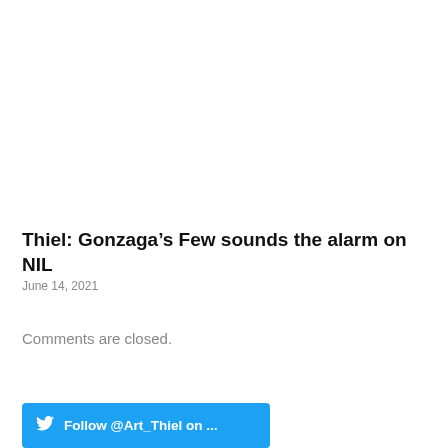Thiel: Gonzaga’s Few sounds the alarm on NIL
June 14, 2021
Comments are closed.
Follow @Art_Thiel on ...